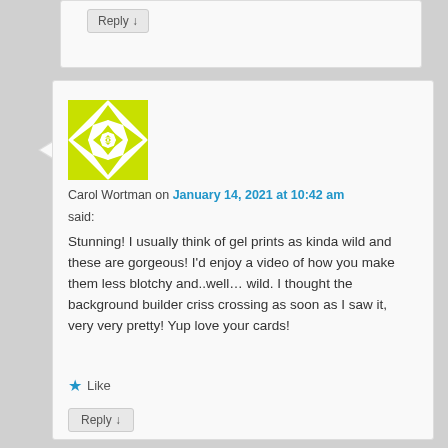Reply ↓
[Figure (illustration): User avatar with yellow-green geometric star/diamond quilt pattern on white background]
Carol Wortman on January 14, 2021 at 10:42 am
said:
Stunning! I usually think of gel prints as kinda wild and these are gorgeous! I'd enjoy a video of how you make them less blotchy and..well… wild. I thought the background builder criss crossing as soon as I saw it, very very pretty! Yup love your cards!
★ Like
Reply ↓